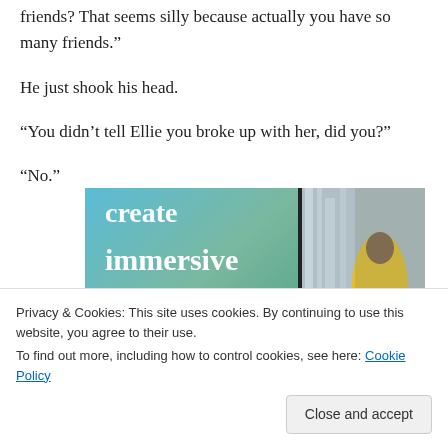friends? That seems silly because actually you have so many friends.”
He just shook his head.
“You didn’t tell Ellie you broke up with her, did you?”
“No.”
[Figure (photo): Advertisement banner with text 'create immersive stories.' on a blue-green gradient background alongside a photo of a person in a yellow jacket near a waterfall.]
Privacy & Cookies: This site uses cookies. By continuing to use this website, you agree to their use.
To find out more, including how to control cookies, see here: Cookie Policy